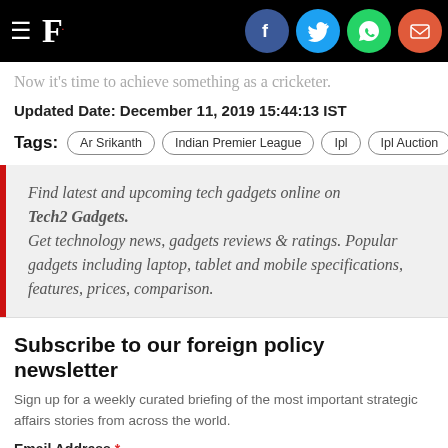F. [logo with social icons: Facebook, Twitter, WhatsApp, Email]
Now it's time to achieve something as a cricketer.
Updated Date: December 11, 2019 15:44:13 IST
Tags: Ar Srikanth | Indian Premier League | Ipl | Ipl Auction | Ipl A
Find latest and upcoming tech gadgets online on Tech2 Gadgets. Get technology news, gadgets reviews & ratings. Popular gadgets including laptop, tablet and mobile specifications, features, prices, comparison.
Subscribe to our foreign policy newsletter
Sign up for a weekly curated briefing of the most important strategic affairs stories from across the world.
Email Address *